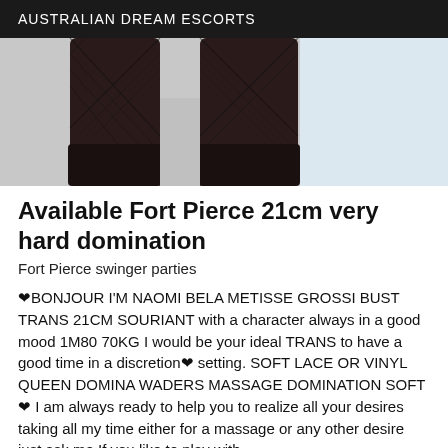AUSTRALIAN DREAM ESCORTS
[Figure (photo): Photo showing legs wearing black lace stockings and black heeled boots against a light background]
Available Fort Pierce 21cm very hard domination
Fort Pierce swinger parties
❤BONJOUR I'M NAOMI BELA METISSE GROSSI BUST TRANS 21CM SOURIANT with a character always in a good mood 1M80 70KG I would be your ideal TRANS to have a good time in a discretion❤ setting. SOFT LACE OR VINYL QUEEN DOMINA WADERS MASSAGE DOMINATION SOFT❤ I am always ready to help you to realize all your desires taking all my time either for a massage or any other desire just ask me If you like to play with